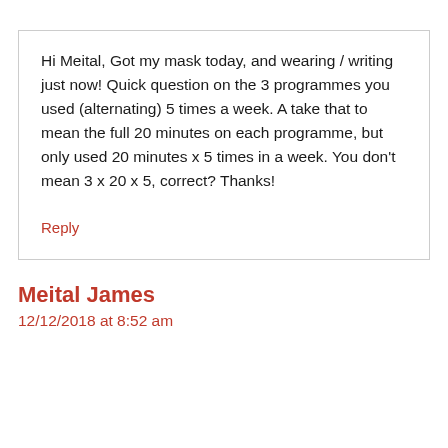Hi Meital, Got my mask today, and wearing / writing just now! Quick question on the 3 programmes you used (alternating) 5 times a week. A take that to mean the full 20 minutes on each programme, but only used 20 minutes x 5 times in a week. You don't mean 3 x 20 x 5, correct? Thanks!
Reply
Meital James
12/12/2018 at 8:52 am